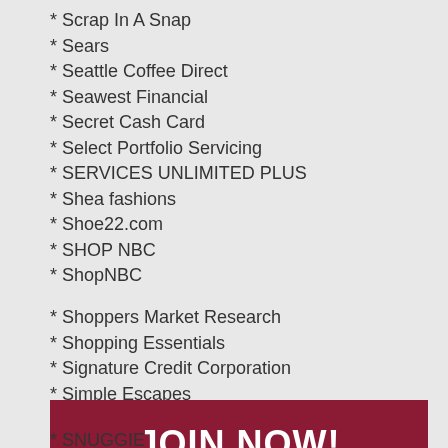* Scrap In A Snap
* Sears
* Seattle Coffee Direct
* Seawest Financial
* Secret Cash Card
* Select Portfolio Servicing
* SERVICES UNLIMITED PLUS
* Shea fashions
* Shoe22.com
* SHOP NBC
* ShopNBC
* Shoppers Market Research
* Shopping Essentials
* Signature Credit Corporation
* Simple Escapes
* Singer Lazer Storm
* Sirius Satellite Radio
* SKYBOXTV
* Skype
* Sl...
JOIN NOW!
* SNUGGIE